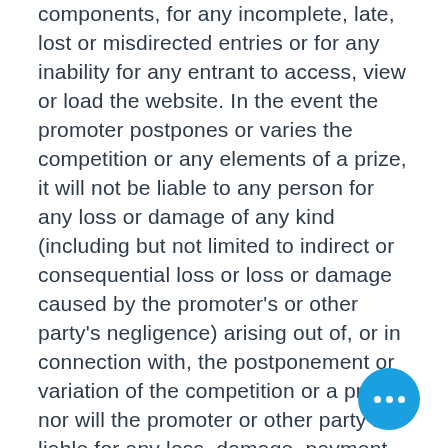components, for any incomplete, late, lost or misdirected entries or for any inability for any entrant to access, view or load the website. In the event the promoter postpones or varies the competition or any elements of a prize, it will not be liable to any person for any loss or damage of any kind (including but not limited to indirect or consequential loss or loss or damage caused by the promoter's or other party's negligence) arising out of, or in connection with, the postponement or variation of the competition or a prize, nor will the promoter or other party be liable for any loss, damage, payment or expense of any kind (including but not limited to indirect or consequential loss or damage caused by the promoter's or other party's negligence) or personal injury or other damage suffered or sustained as a result of entering, judging, running, cancellation or